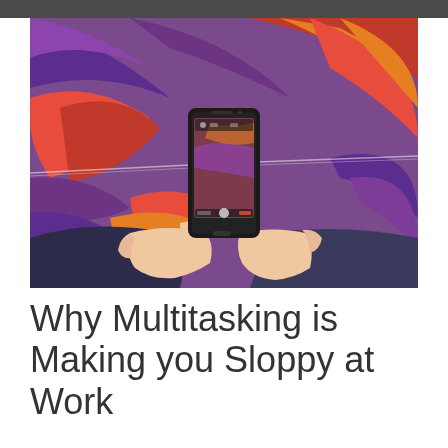[Figure (photo): Hands holding a smartphone photographing colorful graffiti wall art with abstract swirling patterns in red, purple, orange, and blue tones.]
Why Multitasking is Making you Sloppy at Work